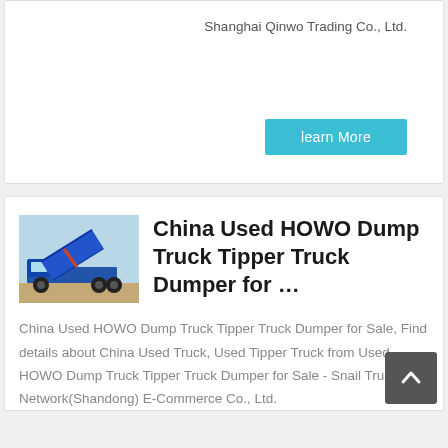Shanghai Qinwo Trading Co., Ltd.
learn More
China Used HOWO Dump Truck Tipper Truck Dumper for …
China Used HOWO Dump Truck Tipper Truck Dumper for Sale, Find details about China Used Truck, Used Tipper Truck from Used HOWO Dump Truck Tipper Truck Dumper for Sale - Snail Truck Network(Shandong) E-Commerce Co., Ltd.
[Figure (photo): Blue HOWO dump truck with raised tipper bed]